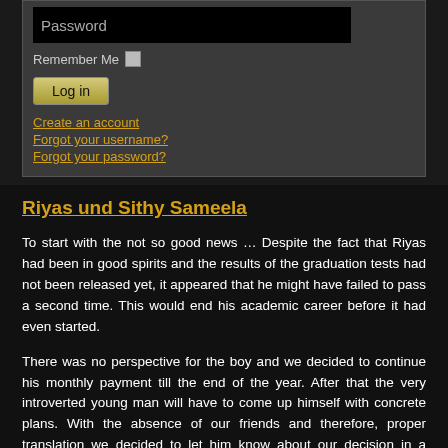[Figure (screenshot): Login form with password field, Remember Me checkbox, Log in button, and links for Create an account, Forgot your username?, Forgot your password?]
Riyas und Sithy Sameela
To start with the not so good news … Despite the fact that Riyas had been in good spirits and the results of the graduation tests had not been released yet, it appeared that he might have failed to pass a second time.  This would end his academic career before it had even started.
There was no perspective for the boy and we decided to continue his monthly payment till the end of the year.  After that the very introverted young man will have to come up himself with concrete plans.  With the absence of our friends and therefore, proper translation we decided to let him know about our decision in a detailed letter.
Sameela`s school performance was great.  We had not planned to go to Kandy on this visit and we had almost given up finding her parents in Hambantota.  The refugee camp had disappeared and to find them in the labyrinth of Siribopura was almost impossible.  We had met Sameela's unmarried brother in the World Vision flats and